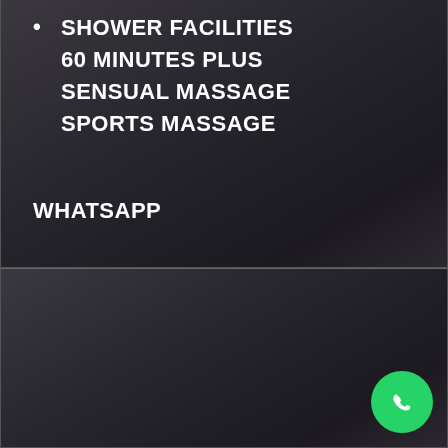SHOWER FACILITIES
60 MINUTES PLUS
SENSUAL MASSAGE
SPORTS MASSAGE
WHATSAPP
Package #2
Tantra-Erotic massage
£
[Figure (logo): WhatsApp icon button (green circle with phone handset logo)]